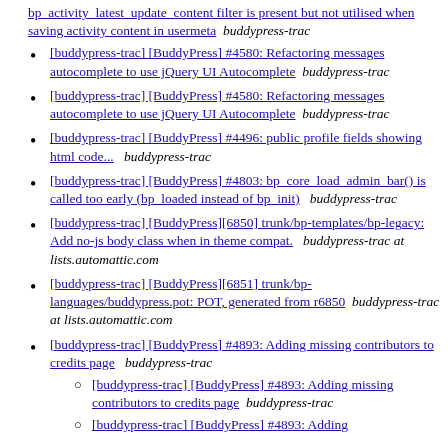[buddypress-trac] [BuddyPress] #4580: Refactoring messages autocomplete to use jQuery UI Autocomplete  buddypress-trac
[buddypress-trac] [BuddyPress] #4580: Refactoring messages autocomplete to use jQuery UI Autocomplete  buddypress-trac
[buddypress-trac] [BuddyPress] #4496: public profile fields showing html code...   buddypress-trac
[buddypress-trac] [BuddyPress] #4803: bp_core_load_admin_bar() is called too early (bp_loaded instead of bp_init)   buddypress-trac
[buddypress-trac] [BuddyPress][6850] trunk/bp-templates/bp-legacy: Add no-js body class when in theme compat.   buddypress-trac at lists.automattic.com
[buddypress-trac] [BuddyPress][6851] trunk/bp-languages/buddypress.pot: POT, generated from r6850  buddypress-trac at lists.automattic.com
[buddypress-trac] [BuddyPress] #4893: Adding missing contributors to credits page   buddypress-trac
[buddypress-trac] [BuddyPress] #4893: Adding missing contributors to credits page  buddypress-trac
[buddypress-trac] [BuddyPress] #4893: Adding